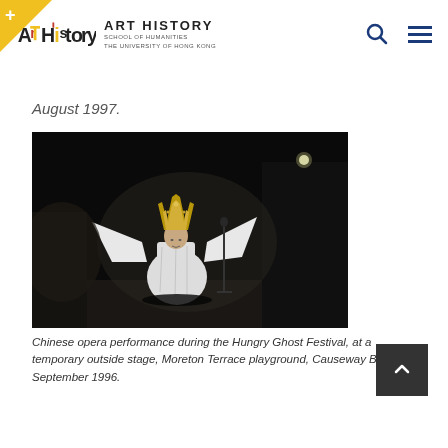Art History | School of Humanities, The University of Hong Kong
August 1997.
[Figure (photo): Black and white photograph of a Chinese opera performer in elaborate costume and headdress standing on a dark stage with arms outstretched, a light visible in the upper background]
Chinese opera performance during the Hungry Ghost Festival, at a temporary outside stage, Moreton Terrace playground, Causeway Bay. 5 September 1996.